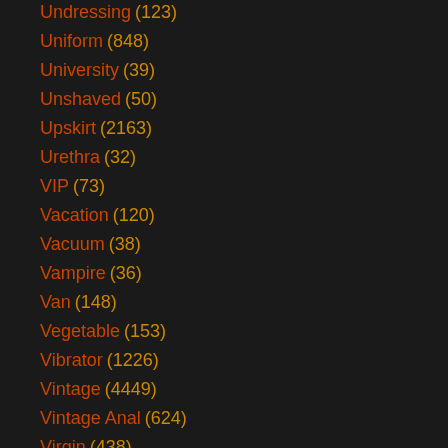Undressing (123)
Uniform (848)
University (39)
Unshaved (50)
Upskirt (2163)
Urethra (32)
VIP (73)
Vacation (120)
Vacuum (38)
Vampire (36)
Van (148)
Vegetable (153)
Vibrator (1226)
Vintage (4449)
Vintage Anal (624)
Virgin (438)